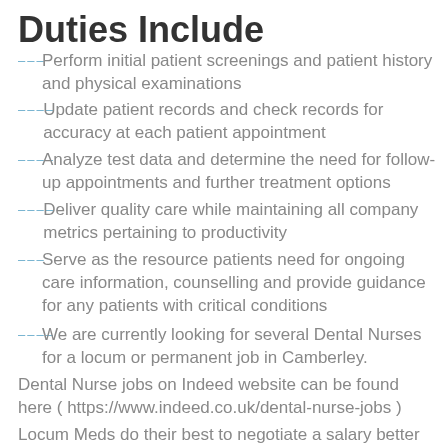Duties Include
Perform initial patient screenings and patient history and physical examinations
Update patient records and check records for accuracy at each patient appointment
Analyze test data and determine the need for follow-up appointments and further treatment options
Deliver quality care while maintaining all company metrics pertaining to productivity
Serve as the resource patients need for ongoing care information, counselling and provide guidance for any patients with critical conditions
We are currently looking for several Dental Nurses for a locum or permanent job in Camberley.
Dental Nurse jobs on Indeed website can be found here ( https://www.indeed.co.uk/dental-nurse-jobs )
Locum Meds do their best to negotiate a salary better than Indeed Dental Nurse jobs.
This Dental Nurse will have a new job located in Camberley.